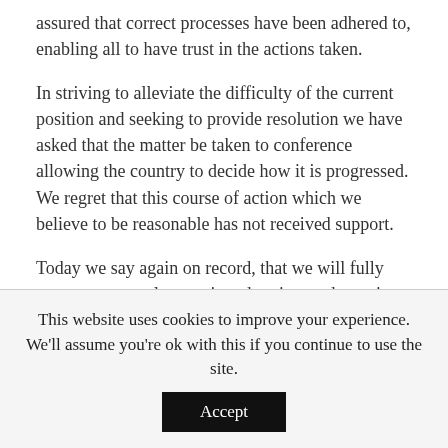assured that correct processes have been adhered to, enabling all to have trust in the actions taken.
In striving to alleviate the difficulty of the current position and seeking to provide resolution we have asked that the matter be taken to conference allowing the country to decide how it is progressed. We regret that this course of action which we believe to be reasonable has not received support.
Today we say again on record, that we will fully support a properly constituted review and remain prepared to engage fully on that basis.
This website uses cookies to improve your experience. We'll assume you're ok with this if you continue to use the site. Accept